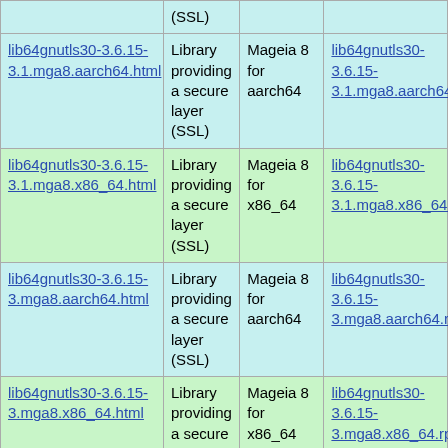| Package | Description | Distribution | Download |
| --- | --- | --- | --- |
| lib64gnutls30-3.6.15-3.1.mga8.aarch64.html | Library providing a secure layer (SSL) | Mageia 8 for aarch64 | lib64gnutls30-3.6.15-3.1.mga8.aarch64... |
| lib64gnutls30-3.6.15-3.1.mga8.x86_64.html | Library providing a secure layer (SSL) | Mageia 8 for x86_64 | lib64gnutls30-3.6.15-3.1.mga8.x86_64... |
| lib64gnutls30-3.6.15-3.mga8.aarch64.html | Library providing a secure layer (SSL) | Mageia 8 for aarch64 | lib64gnutls30-3.6.15-3.mga8.aarch64.rp... |
| lib64gnutls30-3.6.15-3.mga8.x86_64.html | Library providing a secure layer (SSL) | Mageia 8 for x86_64 | lib64gnutls30-3.6.15-3.mga8.x86_64.rp... |
| lib64gnutls30-3.6.15-1.1.mga7.aarch64.html | Library providing a secure layer (SSL) | Mageia 7 for aarch64 | lib64gnutls30-3.6.15-1.1.mga7.aarch64... |